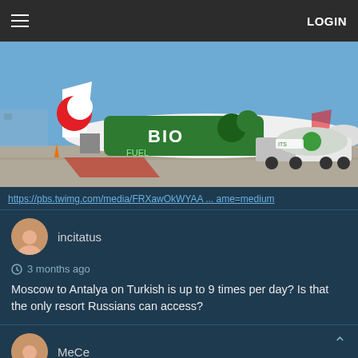≡  LOGIN
[Figure (photo): Turkish Airlines airplane with green 'BIO FUEL' livery parked on airport tarmac with a fuel truck alongside it under a blue sky]
https://pbs.twimg.com/media/FRXawOkWYAA ... ame=medium
incitatus
3 months ago
Moscow to Antalya on Turkish is up to 9 times per day? Is that the only resort Russians can access?
MeCe
3 months ago